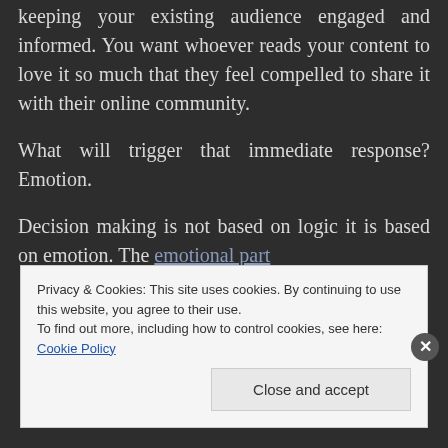keeping your existing audience engaged and informed. You want whoever reads your content to love it so much that they feel compelled to share it with their online community.

What will trigger that immediate response? Emotion.

Decision making is not based on logic it is based on emotion. The emotional part
Privacy & Cookies: This site uses cookies. By continuing to use this website, you agree to their use.
To find out more, including how to control cookies, see here: Cookie Policy
Close and accept